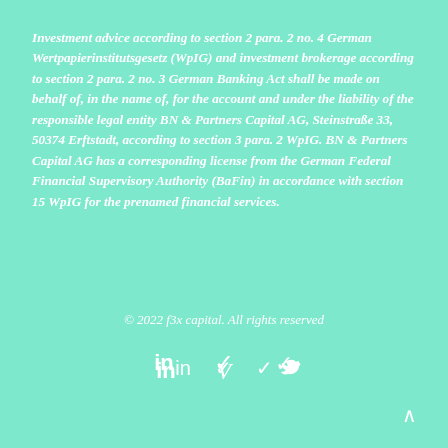Investment advice according to section 2 para. 2 no. 4 German Wertpapierinstitutsgesetz (WpIG) and investment brokerage according to section 2 para. 2 no. 3 German Banking Act shall be made on behalf of, in the name of, for the account and under the liability of the responsible legal entity BN & Partners Capital AG, Steinstraße 33, 50374 Erftstadt, according to section 3 para. 2 WpIG. BN & Partners Capital AG has a corresponding license from the German Federal Financial Supervisory Authority (BaFin) in accordance with section 15 WpIG for the prenamed financial services.
© 2022 f3x capital. All rights reserved